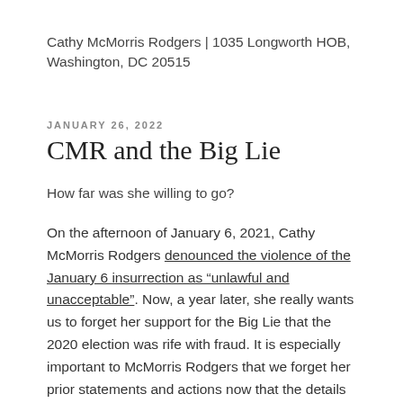Cathy McMorris Rodgers | 1035 Longworth HOB, Washington, DC 20515
JANUARY 26, 2022
CMR and the Big Lie
How far was she willing to go?
On the afternoon of January 6, 2021, Cathy McMorris Rodgers denounced the violence of the January 6 insurrection as “unlawful and unacceptable”. Now, a year later, she really wants us to forget her support for the Big Lie that the 2020 election was rife with fraud. It is especially important to McMorris Rodgers that we forget her prior statements and actions now that the details of Trump’s multi-pronged attempted coup are